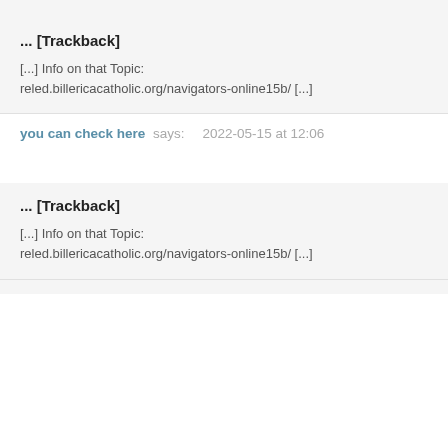... [Trackback]
[…] Info on that Topic: reled.billericacatholic.org/navigators-online15b/ […]
you can check here says: 2022-05-15 at 12:06
... [Trackback]
[…] Info on that Topic: reled.billericacatholic.org/navigators-online15b/ […]